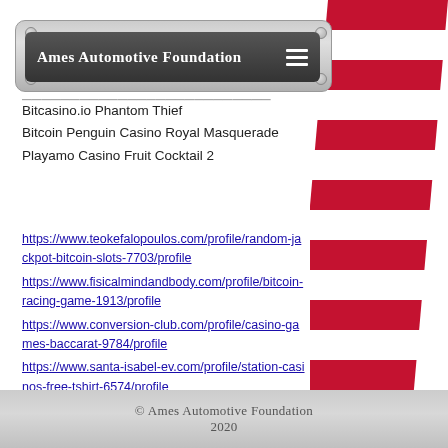Ames Automotive Foundation
Bitcasino.io Phantom Thief
Bitcoin Penguin Casino Royal Masquerade
Playamo Casino Fruit Cocktail 2
https://www.teokefalopoulos.com/profile/random-jackpot-bitcoin-slots-7703/profile
https://www.fisicalmindandbody.com/profile/bitcoin-racing-game-1913/profile
https://www.conversion-club.com/profile/casino-games-baccarat-9784/profile
https://www.santa-isabel-ev.com/profile/station-casinos-free-tshirt-6574/profile
© Ames Automotive Foundation 2020